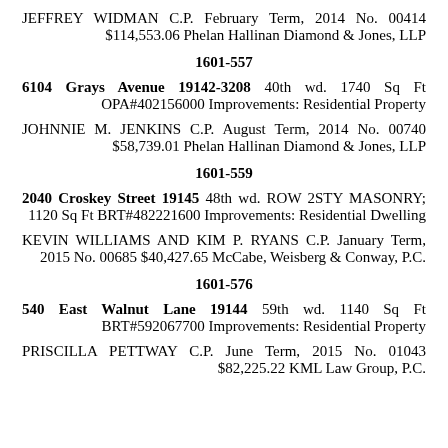JEFFREY WIDMAN C.P. February Term, 2014 No. 00414 $114,553.06 Phelan Hallinan Diamond & Jones, LLP
1601-557
6104 Grays Avenue 19142-3208 40th wd. 1740 Sq Ft OPA#402156000 Improvements: Residential Property
JOHNNIE M. JENKINS C.P. August Term, 2014 No. 00740 $58,739.01 Phelan Hallinan Diamond & Jones, LLP
1601-559
2040 Croskey Street 19145 48th wd. ROW 2STY MASONRY; 1120 Sq Ft BRT#482221600 Improvements: Residential Dwelling
KEVIN WILLIAMS AND KIM P. RYANS C.P. January Term, 2015 No. 00685 $40,427.65 McCabe, Weisberg & Conway, P.C.
1601-576
540 East Walnut Lane 19144 59th wd. 1140 Sq Ft BRT#592067700 Improvements: Residential Property
PRISCILLA PETTWAY C.P. June Term, 2015 No. 01043 $82,225.22 KML Law Group, P.C.